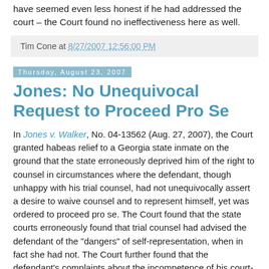have seemed even less honest if he had addressed the court – the Court found no ineffectiveness here as well.
Tim Cone at 8/27/2007 12:56:00 PM
Thursday, August 23, 2007
Jones: No Unequivocal Request to Proceed Pro Se
In Jones v. Walker, No. 04-13562 (Aug. 27, 2007), the Court granted habeas relief to a Georgia state inmate on the ground that the state erroneously deprived him of the right to counsel in circumstances where the defendant, though unhappy with his trial counsel, had not unequivocally assert a desire to waive counsel and to represent himself, yet was ordered to proceed pro se. The Court found that the state courts erroneously found that trial counsel had advised the defendant of the "dangers" of self-representation, when in fact she had not. The Court further found that the defendant's complaints about the incompetence of his court-appointed lawyer did not amount to a clear and unequivocal